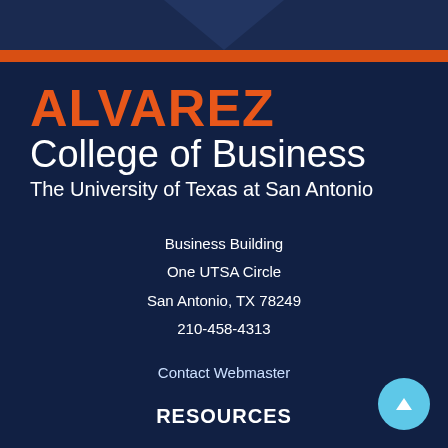[Figure (photo): University building exterior with dark navy overlay, orange stripe below top band with triangle decorative element]
ALVAREZ College of Business
The University of Texas at San Antonio
Business Building
One UTSA Circle
San Antonio, TX 78249
210-458-4313
Contact Webmaster
RESOURCES